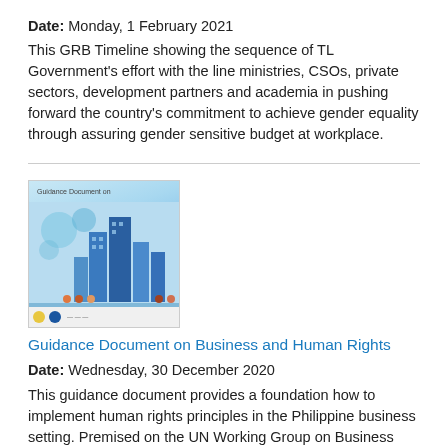Date: Monday, 1 February 2021
This GRB Timeline showing the sequence of TL Government's effort with the line ministries, CSOs, private sectors, development partners and academia in pushing forward the country's commitment to achieve gender equality through assuring gender sensitive budget at workplace.
[Figure (illustration): Cover image of 'Guidance Document on Business and Human Rights' showing buildings and figures on a blue background]
Guidance Document on Business and Human Rights
Date: Wednesday, 30 December 2020
This guidance document provides a foundation how to implement human rights principles in the Philippine business setting. Premised on the UN Working Group on Business and Human Rights' which emphasizes that "a gender perspective is always appropriate for all States and businesses in all situations," this document underscores that gender is a cross-cutting concern in securing a better future